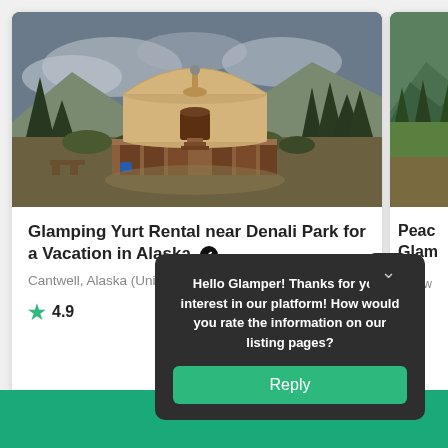[Figure (photo): Photo of a glamping yurt near Denali Park, Alaska. Tan/beige circular yurt with wooden base and stairs, surrounded by evergreen trees and mountains in the background under cloudy sky.]
Glamping Yurt Rental near Denali Park for a Vacation in Alaska ✔
Cantwell, Alaska (United States of America)
★ 4.9
[Figure (photo): Partial photo of another glamping listing, showing green forested hillside.]
Peac... Glam...
Cantw...
Hello Glamper! Thanks for your interest in our platform! How would you rate the information on our listing pages?
Reply